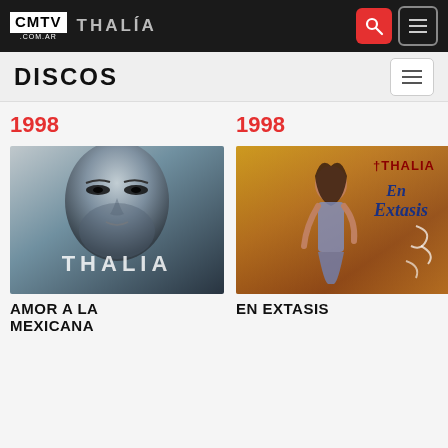CMTV .COM.AR  THALÍA
DISCOS
1998
[Figure (photo): Album cover for Thalia - Amor a la Mexicana (1998), close-up B&W photo of Thalia's face with 'THALIA' text overlay]
AMOR A LA MEXICANA
1998
[Figure (photo): Album cover for Thalia - En Extasis (1998), colorful cover with Thalia standing, warm orange/brown tones, text 'THALIA En Extasis' at top]
EN EXTASIS